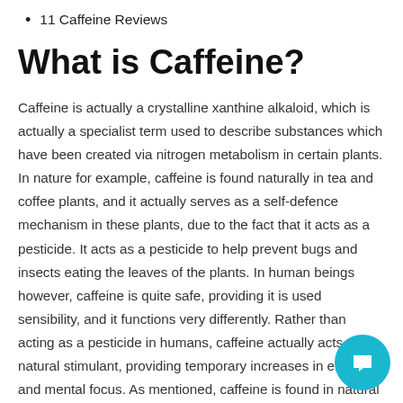11 Caffeine Reviews
What is Caffeine?
Caffeine is actually a crystalline xanthine alkaloid, which is actually a specialist term used to describe substances which have been created via nitrogen metabolism in certain plants. In nature for example, caffeine is found naturally in tea and coffee plants, and it actually serves as a self-defence mechanism in these plants, due to the fact that it acts as a pesticide. It acts as a pesticide to help prevent bugs and insects eating the leaves of the plants. In human beings however, caffeine is quite safe, providing it is used sensibility, and it functions very differently. Rather than acting as a pesticide in humans, caffeine actually acts as a natural stimulant, providing temporary increases in energy and mental focus. As mentioned, caffeine is found in natural sources, including coffee beans and tea leaves, which is why these caffeinated beverages help wake us up once the caffeine enters our